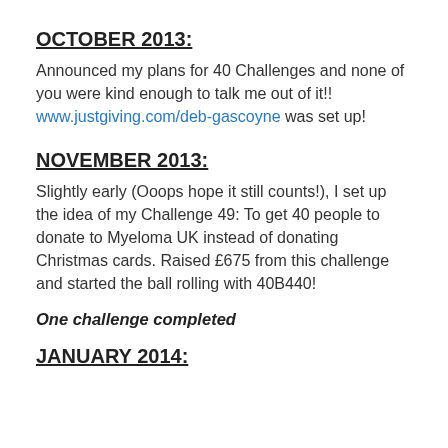OCTOBER 2013:
Announced my plans for 40 Challenges and none of you were kind enough to talk me out of it!! www.justgiving.com/deb-gascoyne was set up!
NOVEMBER 2013:
Slightly early (Ooops hope it still counts!), I set up the idea of my Challenge 49: To get 40 people to donate to Myeloma UK instead of donating Christmas cards. Raised £675 from this challenge and started the ball rolling with 40B440!
One challenge completed
JANUARY 2014: